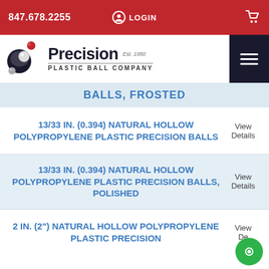847.678.2255 | LOGIN
[Figure (logo): Precision Plastic Ball Company logo with stylized ball icon, Est. 1950]
BALLS, FROSTED
13/33 IN. (0.394) NATURAL HOLLOW POLYPROPYLENE PLASTIC PRECISION BALLS — View Details
13/33 IN. (0.394) NATURAL HOLLOW POLYPROPYLENE PLASTIC PRECISION BALLS, POLISHED — View Details
2 IN. (2") NATURAL HOLLOW POLYPROPYLENE PLASTIC PRECISION — View Details